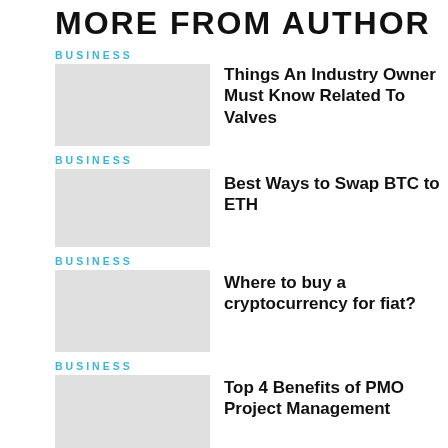MORE FROM AUTHOR
BUSINESS
Things An Industry Owner Must Know Related To Valves
BUSINESS
Best Ways to Swap BTC to ETH
BUSINESS
Where to buy a cryptocurrency for fiat?
BUSINESS
Top 4 Benefits of PMO Project Management
BUSINESS
5 Skills That'll Help You Become More Tech-Savvy